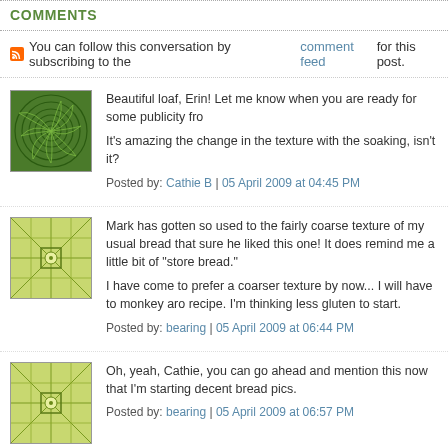COMMENTS
You can follow this conversation by subscribing to the comment feed for this post.
[Figure (illustration): Green swirl/spiral pattern avatar image]
Beautiful loaf, Erin! Let me know when you are ready for some publicity fro
It's amazing the change in the texture with the soaking, isn't it?
Posted by: Cathie B | 05 April 2009 at 04:45 PM
[Figure (illustration): Green geometric grid pattern avatar image]
Mark has gotten so used to the fairly coarse texture of my usual bread that sure he liked this one! It does remind me a little bit of "store bread."
I have come to prefer a coarser texture by now... I will have to monkey aro recipe. I'm thinking less gluten to start.
Posted by: bearing | 05 April 2009 at 06:44 PM
[Figure (illustration): Green geometric grid pattern avatar image]
Oh, yeah, Cathie, you can go ahead and mention this now that I'm starting decent bread pics.
Posted by: bearing | 05 April 2009 at 06:57 PM
[Figure (illustration): Teal/green swirl pattern avatar image]
mMM...looks good! For spur-of-the-moment pizza dough, it's not too hard t without a machine. Do you happen to have a stand mixer w/dough hook? T appliance for pizza and bread dough these days.
Anyway, perhaps you could plan into your schedule to make a larger than n of pizza dough and then break it into smaller portions to freeze. We actuall